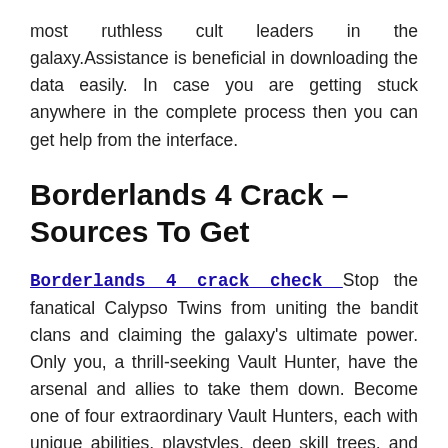most ruthless cult leaders in the galaxy.Assistance is beneficial in downloading the data easily. In case you are getting stuck anywhere in the complete process then you can get help from the interface.
Borderlands 4 Crack – Sources To Get
Borderlands 4 crack check  Stop the fanatical Calypso Twins from uniting the bandit clans and claiming the galaxy's ultimate power. Only you, a thrill-seeking Vault Hunter, have the arsenal and allies to take them down. Become one of four extraordinary Vault Hunters, each with unique abilities, playstyles, deep skill trees, and tons of personalization options. All Vault Hunters are